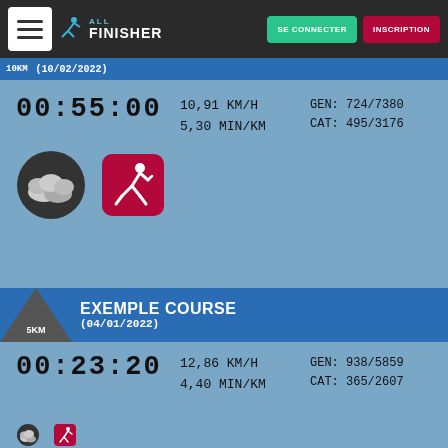[Figure (screenshot): AllFinisher website navigation bar with hamburger menu, logo, SE CONNECTER and INSCRIPTION buttons]
10KM | (10/02/2022)
00:55:00
10,91 KM/H
5,30 MIN/KM
GEN: 724/7380
CAT: 495/3176
[Figure (infographic): Weather icon (cloudy) and running person icon]
EXEMPLE COURSE
(04/01/2022)
00:23:20
12,86 KM/H
4,40 MIN/KM
GEN: 938/5859
CAT: 365/2607